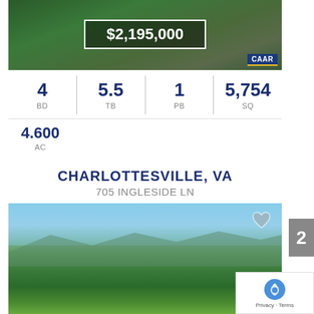[Figure (photo): Aerial view of property with tree coverage and driveway]
$2,195,000
4 BD | 5.5 TB | 1 PB | 5,754 SQ
4.600 AC
CHARLOTTESVILLE, VA
705 INGLESIDE LN
[Figure (photo): Aerial landscape photo of forest and fields under blue sky]